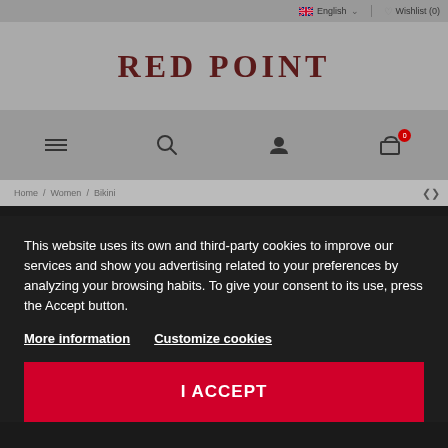English | Wishlist (0)
RED POINT
[Figure (screenshot): Navigation icon bar with hamburger menu, search, user account, and shopping cart icons]
Home / Women / Bikini
This website uses its own and third-party cookies to improve our services and show you advertising related to your preferences by analyzing your browsing habits. To give your consent to its use, press the Accept button.
More information   Customize cookies
I ACCEPT